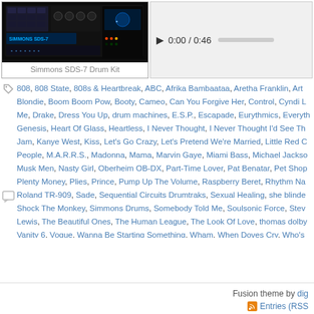[Figure (photo): Simmons SDS-7 Drum Kit hardware image on dark background]
Simmons SDS-7 Drum Kit
0:00 / 0:46 (audio player)
808, 808 State, 808s & Heartbreak, ABC, Afrika Bambaataa, Aretha Franklin, Arth... Blondie, Boom Boom Pow, Booty, Cameo, Can You Forgive Her, Control, Cyndi L... Me, Drake, Dress You Up, drum machines, E.S.P., Escapade, Eurythmics, Everyth... Genesis, Heart Of Glass, Heartless, I Never Thought, I Never Thought I'd See Th... Jam, Kanye West, Kiss, Let's Go Crazy, Let's Pretend We're Married, Little Red C... People, M.A.R.R.S., Madonna, Mama, Marvin Gaye, Miami Bass, Michael Jackso... Musk Men, Nasty Girl, Oberheim OB-DX, Part-Time Lover, Pat Benatar, Pet Shop... Plenty Money, Plies, Prince, Pump Up The Volume, Raspberry Beret, Rhythm Na... Roland TR-909, Sade, Sequential Circuits Drumtraks, Sexual Healing, she blinde... Shock The Monkey, Simmons Drums, Somebody Told Me, Soulsonic Force, Stev... Lewis, The Beautiful Ones, The Human League, The Look Of Love, thomas dolby... Vanity 6, Vogue, Wanna Be Starting Something, Wham, When Doves Cry, Who's...
Fusion theme by digi... | Entries (RSS)